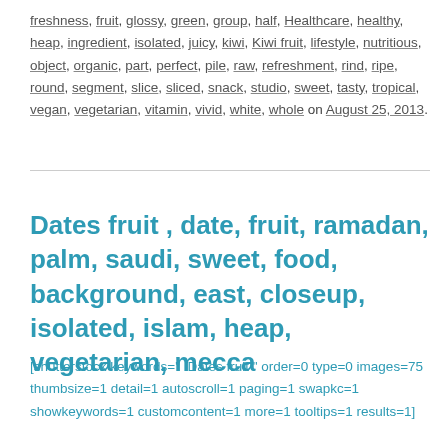freshness, fruit, glossy, green, group, half, Healthcare, healthy, heap, ingredient, isolated, juicy, kiwi, Kiwi fruit, lifestyle, nutritious, object, organic, part, perfect, pile, raw, refreshment, rind, ripe, round, segment, slice, sliced, snack, studio, sweet, tasty, tropical, vegan, vegetarian, vitamin, vivid, white, whole on August 25, 2013.
Dates fruit , date, fruit, ramadan, palm, saudi, sweet, food, background, east, closeup, isolated, islam, heap, vegetarian, mecca
[shutterstock keywords="  Dates fruit " order=0 type=0 images=75 thumbsize=1 detail=1 autoscroll=1 paging=1 swapkc=1 showkeywords=1 customcontent=1 more=1 tooltips=1 results=1]